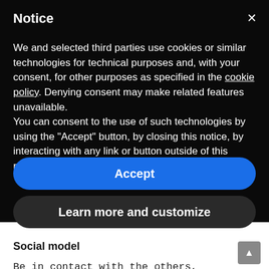Notice
We and selected third parties use cookies or similar technologies for technical purposes and, with your consent, for other purposes as specified in the cookie policy. Denying consent may make related features unavailable.
You can consent to the use of such technologies by using the "Accept" button, by closing this notice, by interacting with any link or button outside of this notice or by continuing to browse otherwise.
Accept
Learn more and customize
Social model
Be in contact with the others, especially the most vulnerable people (but protect yourself). take care of your